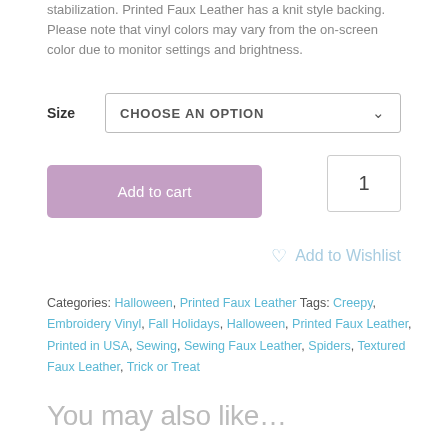stabilization. Printed Faux Leather has a knit style backing. Please note that vinyl colors may vary from the on-screen color due to monitor settings and brightness.
Size  CHOOSE AN OPTION
1
Add to cart
Add to Wishlist
Categories: Halloween, Printed Faux Leather  Tags: Creepy, Embroidery Vinyl, Fall Holidays, Halloween, Printed Faux Leather, Printed in USA, Sewing, Sewing Faux Leather, Spiders, Textured Faux Leather, Trick or Treat
You may also like…